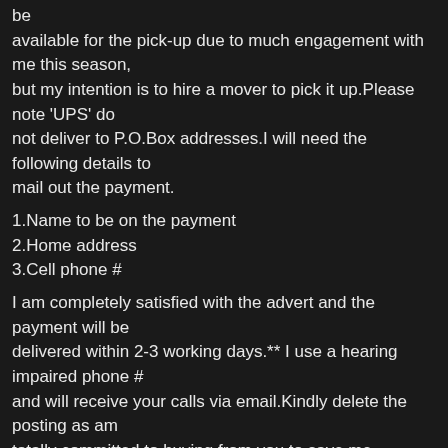be available for the pick-up due to much engagement with me this season, but my intention is to hire a mover to pick it up.Please note 'UPS' do not deliver to P.O.Box addresses.I will need the following details to mail out the payment.
1.Name to be on the payment
2.Home address
3.Cell phone #
I am completely satisfied with the advert and the payment will be delivered within 2-3 working days.** I use a hearing impaired phone # and will receive your calls via email.Kindly delete the posting as am totally committed to buying from you to save me cost.Until then remain blessed and take good care of yourself for me